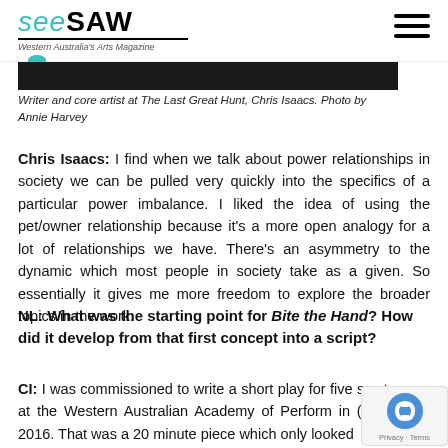seesaw — Western Australia's Arts Magazine
[Figure (photo): Dark photo strip, partial image of a person (Chris Isaacs)]
Writer and core artist at The Last Great Hunt, Chris Isaacs. Photo by Annie Harvey
Chris Isaacs: I find when we talk about power relationships in society we can be pulled very quickly into the specifics of a particular power imbalance. I liked the idea of using the pet/owner relationship because it's a more open analogy for a lot of relationships we have. There's an asymmetry to the dynamic which most people in society take as a given. So essentially it gives me more freedom to explore the broader topics in the work.
NL: What was the starting point for Bite the Hand? How did it develop from that first concept into a script?
CI: I was commissioned to write a short play for five s actors at the Western Australian Academy of Perform in (I think) 2016. That was a 20 minute piece which only looked